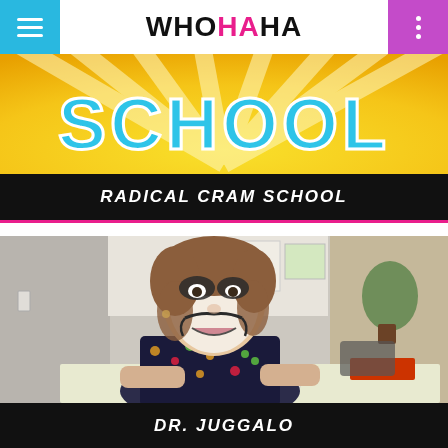WHOHAHA
[Figure (screenshot): Radical Cram School show thumbnail with yellow sunburst background and colorful block letters spelling SCHOOL]
RADICAL CRAM SCHOOL
[Figure (photo): Woman with clown face paint (white base with dark eye markings and smile lines) wearing a floral dress, seated at a desk in a classroom setting]
DR. JUGGALO